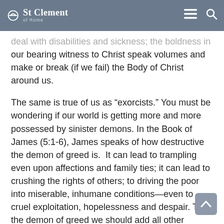St Clement of Rome
deal with disabilities and sickness; the boldness in our bearing witness to Christ speak volumes and make or break (if we fail) the Body of Christ around us.
The same is true of us as “exorcists.” You must be wondering if our world is getting more and more possessed by sinister demons. In the Book of James (5:1-6), James speaks of how destructive the demon of greed is.  It can lead to trampling even upon affections and family ties; it can lead to crushing the rights of others; to driving the poor into miserable, inhumane conditions—even to cruel exploitation, hopelessness and despair. To the demon of greed we should add all other demons that cause loss of sleep and peace of mind or that keep one from